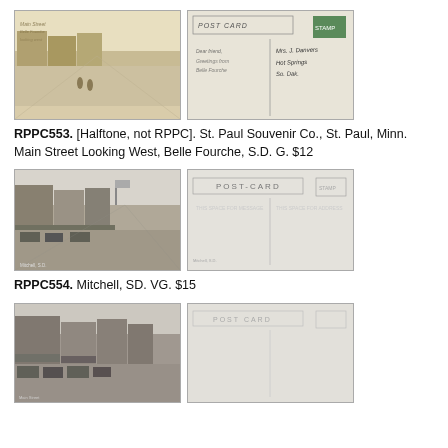[Figure (photo): Front of postcard: sepia-toned street scene looking down Main Street, people visible in the distance. Back of postcard: handwritten address, POST CARD stamp area, green stamp.]
RPPC553. [Halftone, not RPPC]. St. Paul Souvenir Co., St. Paul, Minn. Main Street Looking West, Belle Fourche, S.D. G. $12
[Figure (photo): Front of postcard: black-and-white street scene with storefronts and parked cars. Back of postcard: POST-CARD printed header, blank/unused.]
RPPC554. Mitchell, SD. VG. $15
[Figure (photo): Front of postcard: black-and-white street scene with buildings and cars. Back of postcard: blank POST CARD back with stamp box.]